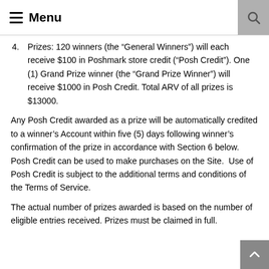Menu
4. Prizes: 120 winners (the “General Winners”) will each receive $100 in Poshmark store credit (“Posh Credit”). One (1) Grand Prize winner (the “Grand Prize Winner”) will receive $1000 in Posh Credit. Total ARV of all prizes is $13000.
Any Posh Credit awarded as a prize will be automatically credited to a winner’s Account within five (5) days following winner’s confirmation of the prize in accordance with Section 6 below. Posh Credit can be used to make purchases on the Site.  Use of Posh Credit is subject to the additional terms and conditions of the Terms of Service.
The actual number of prizes awarded is based on the number of eligible entries received. Prizes must be claimed in full.